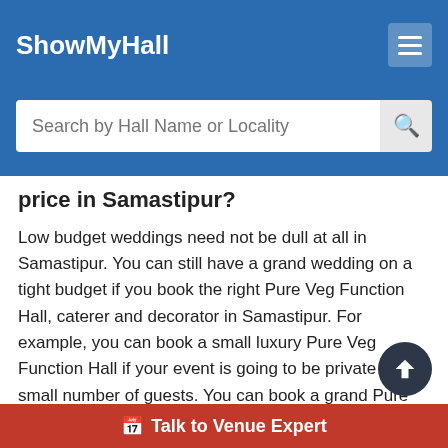ShowMyHall
price in Samastipur?
Low budget weddings need not be dull at all in Samastipur. You can still have a grand wedding on a tight budget if you book the right Pure Veg Function Hall, caterer and decorator in Samastipur. For example, you can book a small luxury Pure Veg Function Hall if your event is going to be private with a small number of guests. You can book a grand Pure Veg Function Hall which is not on the main road but a little inside in Samastipur. Similarly, there are too many caterers and decorators available. If you get the true reviews about them, you can easily zero in on the right one for your event at Pure Veg Function Hall in Samastipur without spending a fortune.
What facilities do the best Pure Veg Function Ha...
Talk to Venue Expert